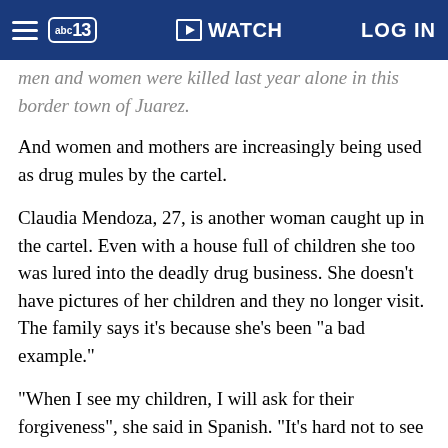abc13 | WATCH | LOG IN
men and women were killed last year alone in this border town of Juarez.
And women and mothers are increasingly being used as drug mules by the cartel.
Claudia Mendoza, 27, is another woman caught up in the cartel. Even with a house full of children she too was lured into the deadly drug business. She doesn't have pictures of her children and they no longer visit. The family says it's because she's been "a bad example."
"When I see my children, I will ask for their forgiveness", she said in Spanish. "It's hard not to see them."
In another cell around the corner, Frida Espanza has a picture displaying her three children, and another terribly sad story